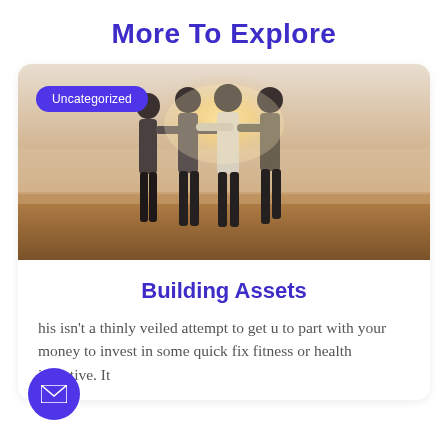More To Explore
[Figure (photo): Four people standing together with arms around each other, silhouetted against a warm foggy/sunset background outdoors]
Building Assets
his isn't a thinly veiled attempt to get u to part with your money to invest in some quick fix fitness or health initiative. It